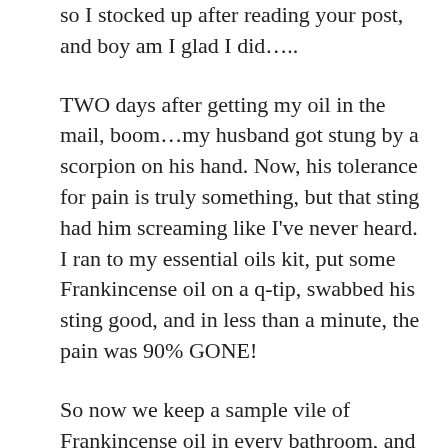so I stocked up after reading your post, and boy am I glad I did…..
TWO days after getting my oil in the mail, boom…my husband got stung by a scorpion on his hand. Now, his tolerance for pain is truly something, but that sting had him screaming like I've never heard. I ran to my essential oils kit, put some Frankincense oil on a q-tip, swabbed his sting good, and in less than a minute, the pain was 90% GONE!
So now we keep a sample vile of Frankincense oil in every bathroom, and one in each of our barns; in case our Nigerian Dwarf dairy goats or other animals get